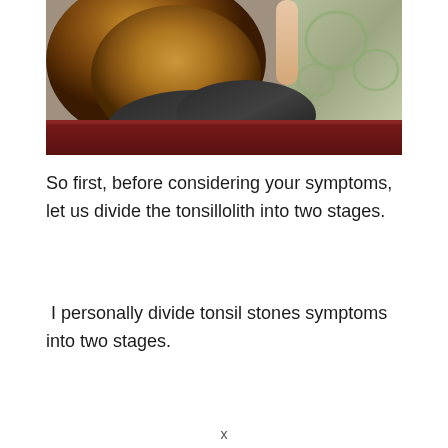[Figure (photo): A person with long reddish-brown hair seen from behind, sitting on what appears to be a dark red wooden bench, with one arm raised. Background shows a decorative patterned surface.]
So first, before considering your symptoms, let us divide the tonsillolith into two stages.
I personally divide tonsil stones symptoms into two stages.
x